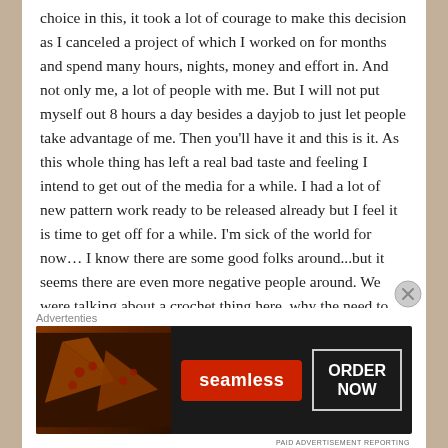choice in this, it took a lot of courage to make this decision as I canceled a project of which I worked on for months and spend many hours, nights, money and effort in. And not only me, a lot of people with me. But I will not put myself out 8 hours a day besides a dayjob to just let people take advantage of me. Then you'll have it and this is it. As this whole thing has left a real bad taste and feeling I intend to get out of the media for a while. I had a lot of new pattern work ready to be released already but I feel it is time to get off for a while. I'm sick of the world for now… I know there are some good folks around...but it seems there are even more negative people around. We were talking about a crochet thing here, why the need to judge someone personally and break down every single part of selfrespect
Advertenties
[Figure (photo): Seamless food ordering advertisement banner showing pizza slices on the left, a red Seamless logo button in the center, and an 'ORDER NOW' button on the right, all on a dark background.]